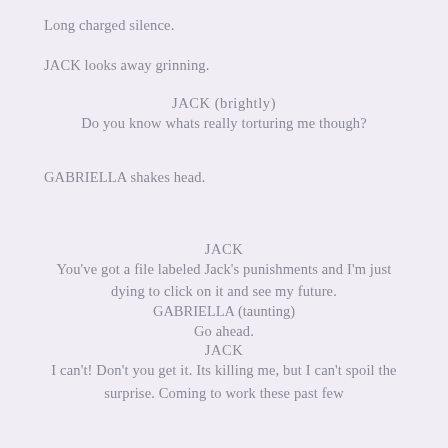Long charged silence.
JACK looks away grinning.
JACK (brightly)
Do you know whats really torturing me though?
GABRIELLA shakes head.
JACK
You've got a file labeled Jack's punishments and I'm just dying to click on it and see my future.
GABRIELLA (taunting)
Go ahead.
JACK
I can't! Don't you get it. Its killing me, but I can't spoil the surprise. Coming to work these past few